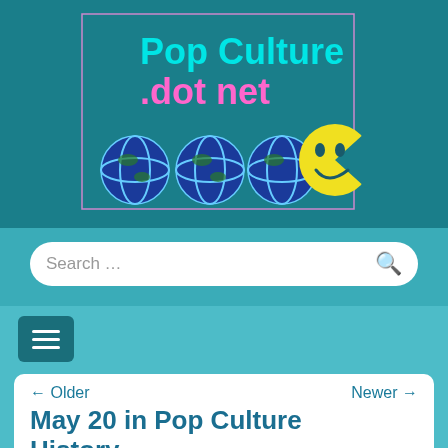[Figure (logo): Pop Culture dot net website logo with colorful text and globe/smiley face graphics on teal background]
Search …
[Figure (other): Hamburger menu button (three horizontal lines) on dark teal rounded rectangle]
← Older    Newer →
May 20 in Pop Culture History
Posted by Joe Hummel III
May 20 in Pop Culture History
1873 – Levi Strauss and Jacob W Davis patented (#139,121) copper-riveted jeans, designed to help prevent tears in the fabric